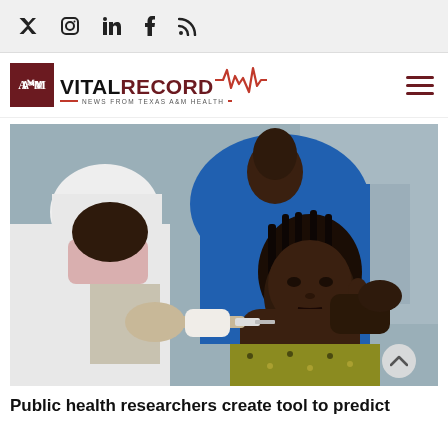Social media icons: Twitter, Instagram, LinkedIn, Facebook, RSS
[Figure (logo): Vital Record — News from Texas A&M Health logo with Texas A&M University mark and red ECG pulse line]
[Figure (photo): Healthcare worker in white coat and mask administering a vaccine injection to a young African girl wearing a patterned dress, with another person in blue shirt assisting]
Public health researchers create tool to predict